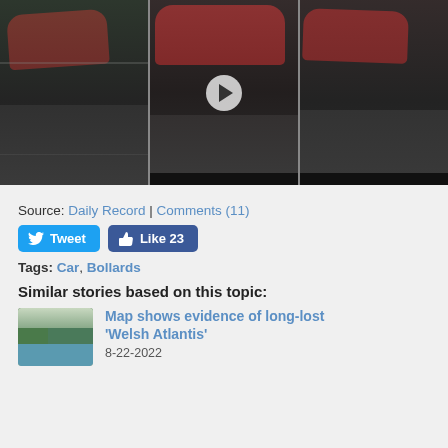[Figure (photo): Three-panel image showing a red car crash/collision on a road. Middle panel has a video play button overlay.]
Source: Daily Record | Comments (11)
Tweet | Like 23
Tags: Car, Bollards
Similar stories based on this topic:
[Figure (photo): Thumbnail of coastal landscape, green cliffs and sea, related to Welsh Atlantis story.]
Map shows evidence of long-lost 'Welsh Atlantis'
8-22-2022